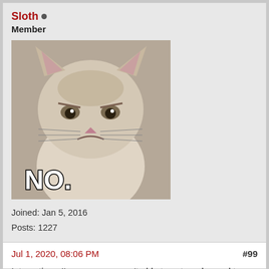Sloth • Member
[Figure (photo): Avatar image of a grumpy-looking cat (Grumpy Cat meme) with bold white text 'NO.' at the bottom]
Joined: Jan 5, 2016
Posts: 1227
Jul 1, 2020, 08:06 PM    #99
Interesting - I'm sure we weren't able to get road speed to appear when feeding a signal in on that pin.
My ECU is also from an auto, but from a 2002 - WDS does suggest there was a changeover of quite a lot sometime in 2000 so perhaps that's why.
In other news - I finally placed my Ashcroft order yesterday as the kits came back into stock. And then I realised I think I'm going to need to change the gearbox to use the GEMS 4.6 TC. Furthermore, it suggests that there's something that would be needed...